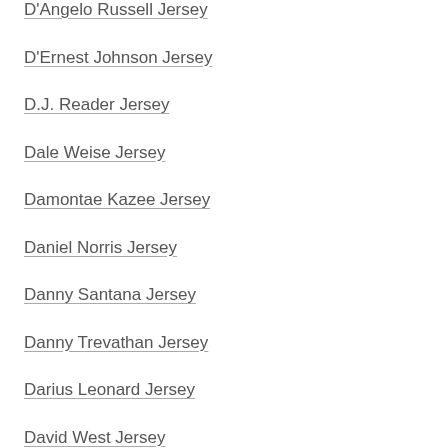D'Angelo Russell Jersey
D'Ernest Johnson Jersey
D.J. Reader Jersey
Dale Weise Jersey
Damontae Kazee Jersey
Daniel Norris Jersey
Danny Santana Jersey
Danny Trevathan Jersey
Darius Leonard Jersey
David West Jersey
DeAndre Hopkins Jersey
DeMarcus Cousins Jersey
Dennis Maruk Jersey